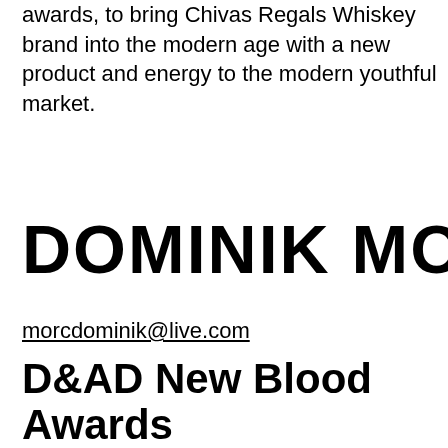awards, to bring Chivas Regals Whiskey brand into the modern age with a new product and energy to the modern youthful market.
DOMINIK MORC
morcdominik@live.com
D&AD New Blood Awards